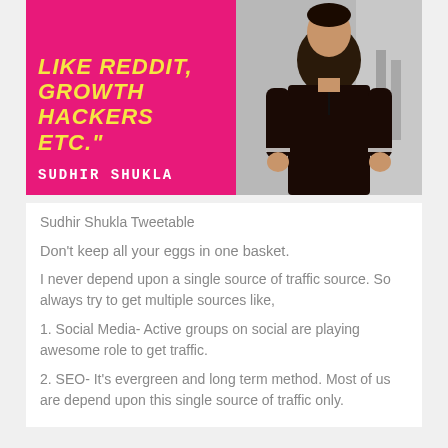[Figure (photo): Pink panel with yellow italic quote text 'LIKE REDDIT, GROWTH HACKERS ETC.' and white author name 'SUDHIR SHUKLA', alongside a photo of a man in a dark shirt]
Sudhir Shukla Tweetable
Don't keep all your eggs in one basket.
I never depend upon a single source of traffic source. So always try to get multiple sources like,
1. Social Media- Active groups on social are playing awesome role to get traffic.
2. SEO- It's evergreen and long term method. Most of us are depend upon this single source of traffic only.